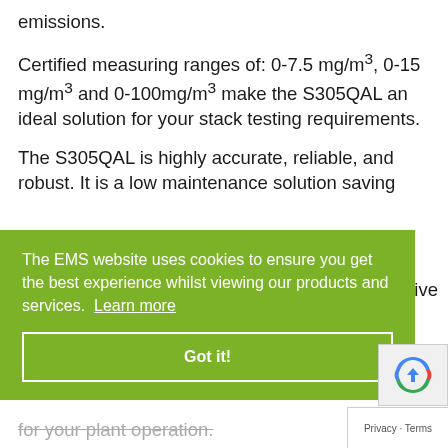emissions.
Certified measuring ranges of: 0-7.5 mg/m³, 0-15 mg/m³ and 0-100mg/m³ make the S305QAL an ideal solution for your stack testing requirements.
The S305QAL is highly accurate, reliable, and robust. It is a low maintenance solution saving
The EMS website uses cookies to ensure you get the best experience whilst viewing our products and services. Learn more
Got it!
for your plant operation.